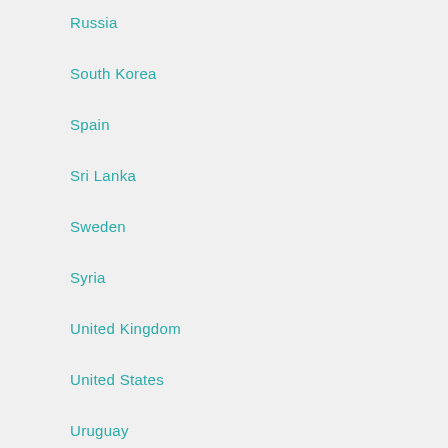Russia
South Korea
Spain
Sri Lanka
Sweden
Syria
United Kingdom
United States
Uruguay
Vietnam
Zimbabwe
Game Strategy
Hosting Tips